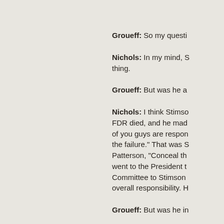Groueff: So my questi
Nichols: In my mind, S thing.
Groueff: But was he a
Nichols: I think Stimso FDR died, and he mad of you guys are respon the failure." That was S Patterson, "Conceal th went to the President t Committee to Stimson overall responsibility. H
Groueff: But was he in
Nichols: Oh, yes, he w